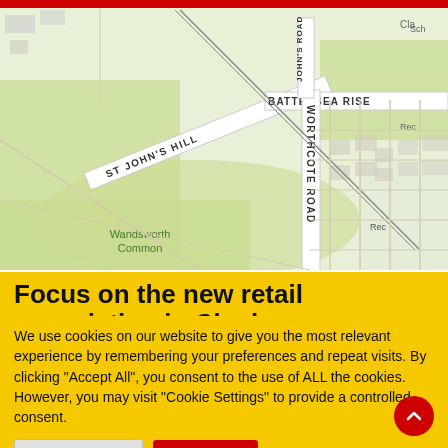[Figure (map): Street map showing Battersea/Clapham area of London with roads including St John's Hill, Battersea Rise, Worthcote Road, and Wandsworth Common labeled. Green spaces visible including Wandsworth Common.]
Focus on the new retail association in Clapham
We use cookies on our website to give you the most relevant experience by remembering your preferences and repeat visits. By clicking "Accept All", you consent to the use of ALL the cookies. However, you may visit "Cookie Settings" to provide a controlled consent.